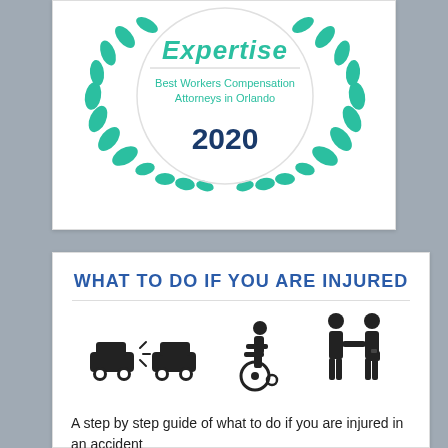[Figure (logo): Expertise award badge: 'Expertise — Best Workers Compensation Attorneys in Orlando 2020' with teal laurel wreath]
WHAT TO DO IF YOU ARE INJURED
[Figure (infographic): Three black silhouette icons: car collision, wheelchair user, two people shaking hands]
A step by step guide of what to do if you are injured in an accident